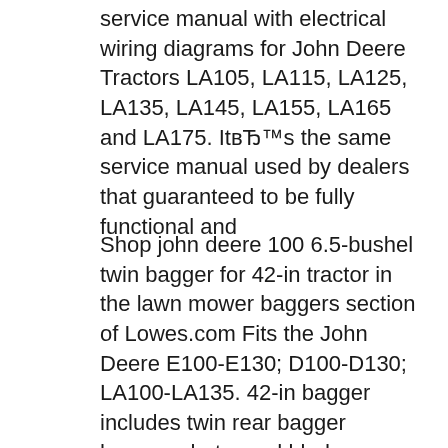service manual with electrical wiring diagrams for John Deere Tractors LA105, LA115, LA125, LA135, LA145, LA155, LA165 and LA175. It’s the same service manual used by dealers that guaranteed to be fully functional and
Shop john deere 100 6.5-bushel twin bagger for 42-in tractor in the lawn mower baggers section of Lowes.com Fits the John Deere E100-E130; D100-D130; LA100-LA135. 42-in bagger includes twin rear bagger hopper, chute, and blades CUSTOMER SERVICE. Rebates Returns & Exchanges Shipping & Delivery Special Orders John Deere GY21084 LH Belt Cover for 42" 100 Series, L100 Series, LA100 Series, D100